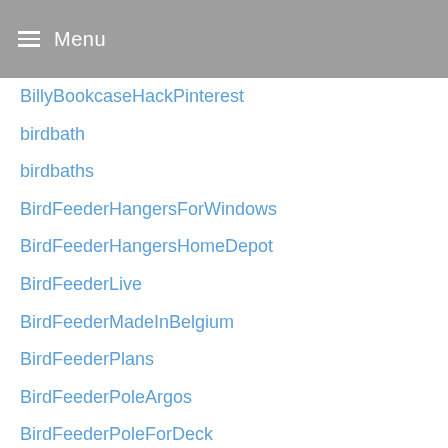Menu
BillyBookcaseHackPinterest
birdbath
birdbaths
BirdFeederHangersForWindows
BirdFeederHangersHomeDepot
BirdFeederLive
BirdFeederMadeInBelgium
BirdFeederPlans
BirdFeederPoleArgos
BirdFeederPoleForDeck
BirdFeederWithChildren
BirdOfPrey
BlackAuthors
Blog
BlogPost
Blossom
BohoStyle